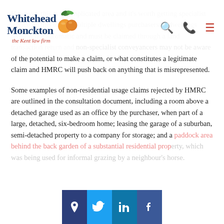Whitehead Monckton — the Kent law firm
However, this is a complicated area and it's worth getting specialist advice on this topic. Multiple dwellings relief is not automatic and must be claimed through a land transaction return and non-specialist conveyancers may not be aware of the potential to make a claim, or what constitutes a legitimate claim and HMRC will push back on anything that is misrepresented.
Some examples of non-residential usage claims rejected by HMRC are outlined in the consultation document, including a room above a detached garage used as an office by the purchaser, when part of a large, detached, six-bedroom home; leasing the garage of a suburban, semi-detached property to a company for storage; and a paddock area behind the back garden of a substantial residential property, which was being used for informal grazing by a neighbour's horse.